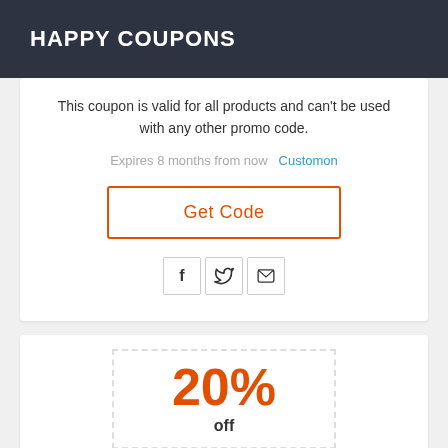HAPPY COUPONS
This coupon is valid for all products and can't be used with any other promo code.
Expires 8 months from now   Customon
Get Code
[Figure (other): Social sharing icons: Facebook, Twitter, Email]
20%
off
Coupon